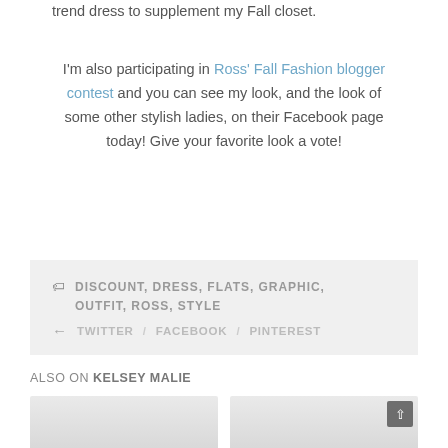trend dress to supplement my Fall closet.
I'm also participating in Ross' Fall Fashion blogger contest and you can see my look, and the look of some other stylish ladies, on their Facebook page today! Give your favorite look a vote!
DISCOUNT, DRESS, FLATS, GRAPHIC, OUTFIT, ROSS, STYLE
TWITTER / FACEBOOK / PINTEREST
ALSO ON KELSEY MALIE
[Figure (photo): Two thumbnail image placeholders side by side for 'Also on Kelsey Malie' section]